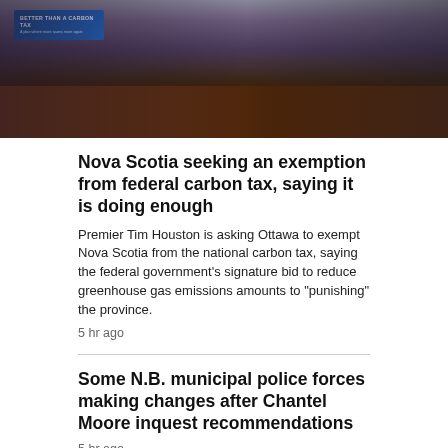[Figure (photo): Photo of people at a panel or press conference podium with a sign reading 'BETTER THAN A CARBON TAX' in the background. Dark wood paneling visible.]
Nova Scotia seeking an exemption from federal carbon tax, saying it is doing enough
Premier Tim Houston is asking Ottawa to exempt Nova Scotia from the national carbon tax, saying the federal government's signature bid to reduce greenhouse gas emissions amounts to "punishing" the province.
5 hr ago
Some N.B. municipal police forces making changes after Chantel Moore inquest recommendations
5 hr ago
Replacement ferry for N.S.-P.E.I. route will begin service Saturday